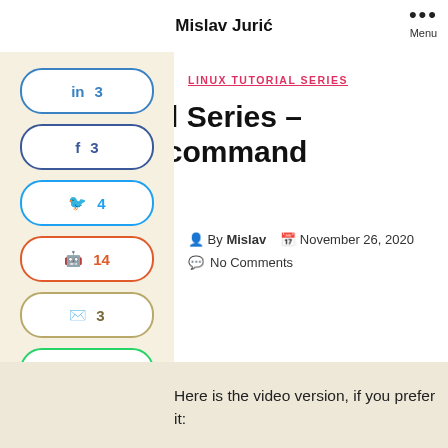Mislav Jurić
[Figure (infographic): Social share sidebar with LinkedIn (3), Facebook (3), Twitter (4), Reddit (14), Email (3), WhatsApp (7) buttons]
LINUX TUTORIAL SERIES
nux Tutorial Series – – The jobs command
By Mislav   November 26, 2020   No Comments
Here is the video version, if you prefer it: